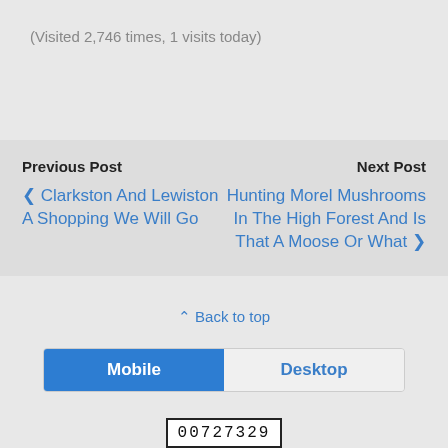(Visited 2,746 times, 1 visits today)
Previous Post
Next Post
❮ Clarkston And Lewiston A Shopping We Will Go
Hunting Morel Mushrooms In The High Forest And Is That A Moose Or What ❯
⌃ Back to top
Mobile
Desktop
00727329